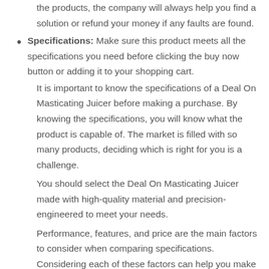the products, the company will always help you find a solution or refund your money if any faults are found.
Specifications: Make sure this product meets all the specifications you need before clicking the buy now button or adding it to your shopping cart.
It is important to know the specifications of a Deal On Masticating Juicer before making a purchase. By knowing the specifications, you will know what the product is capable of. The market is filled with so many products, deciding which is right for you is a challenge.
You should select the Deal On Masticating Juicer made with high-quality material and precision-engineered to meet your needs.
Performance, features, and price are the main factors to consider when comparing specifications. Considering each of these factors can help you make your final decision. With all of them in mind, you can be sure you're getting the best value for your money.